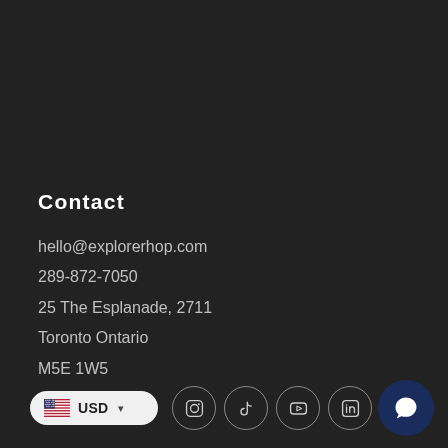Contact
hello@explorerhop.com
289-872-7050
25 The Esplanade, 2711
Toronto Ontario
M5E 1W5
[Figure (infographic): Bottom bar with USD currency selector pill (US flag, USD text, dropdown arrow) and social media icon circles for Instagram, TikTok, YouTube, LinkedIn, WeChat, plus a dark blue chat bubble button on the right]